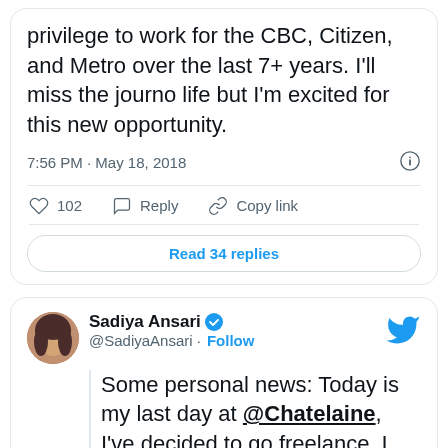privilege to work for the CBC, Citizen, and Metro over the last 7+ years. I'll miss the journo life but I'm excited for this new opportunity.
7:56 PM · May 18, 2018
102  Reply  Copy link
Read 34 replies
Sadiya Ansari @SadiyaAnsari · Follow
Some personal news: Today is my last day at @Chatelaine, I've decided to go freelance. I will miss my Chatz family immensely — I have worked on so many cool projects, edited so many amazing